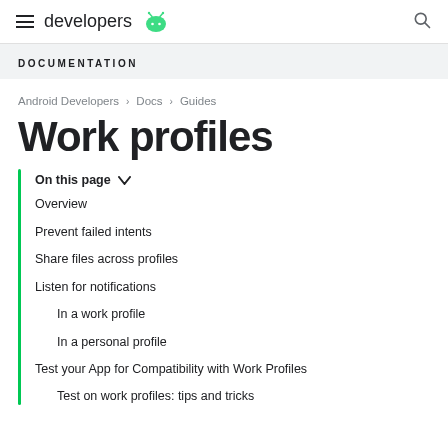developers [android logo]
DOCUMENTATION
Android Developers > Docs > Guides
Work profiles
On this page ∨
Overview
Prevent failed intents
Share files across profiles
Listen for notifications
In a work profile
In a personal profile
Test your App for Compatibility with Work Profiles
Test on work profiles: tips and tricks